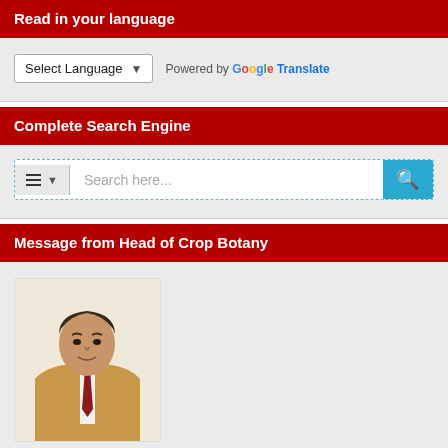Read in your language
[Figure (screenshot): Language selector widget with 'Select Language' dropdown and 'Powered by Google Translate' text]
Complete Search Engine
[Figure (screenshot): Search box with hamburger menu button, 'Search here...' placeholder text, and teal search icon button]
Message from Head of Crop Botany
[Figure (photo): Portrait photo of a man wearing a tan/beige suit jacket with a dark red tie, against a light background]
Message from the Head